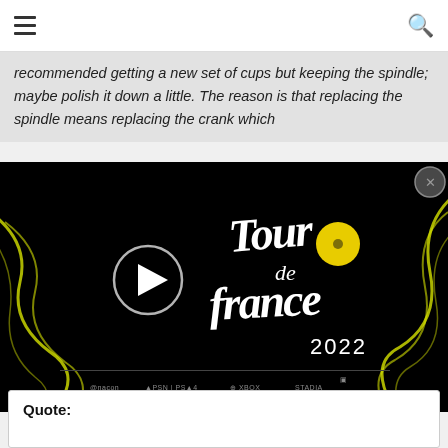recommended getting a new set of cups but keeping the spindle; maybe polish it down a little. The reason is that replacing the spindle means replacing the crank which
[Figure (screenshot): Tour de France 2022 video game promotional video thumbnail on black background with yellow swirling lines and white stylized Tour de France 2022 logo with yellow circle. Play button visible on left side. Platform logos at bottom.]
jorglueke , 03-31-17 07:57 AM
Senior Member
Quote: